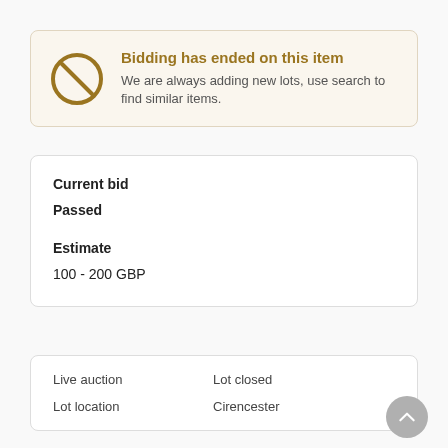Bidding has ended on this item. We are always adding new lots, use search to find similar items.
Current bid
Passed
Estimate
100 - 200 GBP
Live auction
Lot closed
Lot location
Cirencester